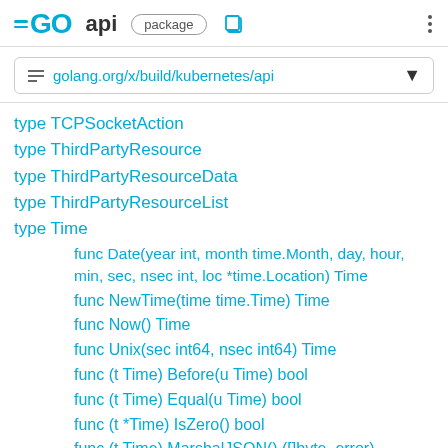GO api package
golang.org/x/build/kubernetes/api
type TCPSocketAction
type ThirdPartyResource
type ThirdPartyResourceData
type ThirdPartyResourceList
type Time
func Date(year int, month time.Month, day, hour, min, sec, nsec int, loc *time.Location) Time
func NewTime(time time.Time) Time
func Now() Time
func Unix(sec int64, nsec int64) Time
func (t Time) Before(u Time) bool
func (t Time) Equal(u Time) bool
func (t *Time) IsZero() bool
func (t Time) MarshalJSON() ([]byte, error)